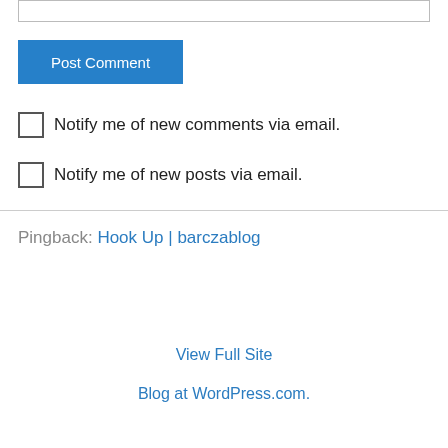[Figure (screenshot): Text input box (empty form field)]
Post Comment
Notify me of new comments via email.
Notify me of new posts via email.
Pingback: Hook Up | barczablog
View Full Site
Blog at WordPress.com.